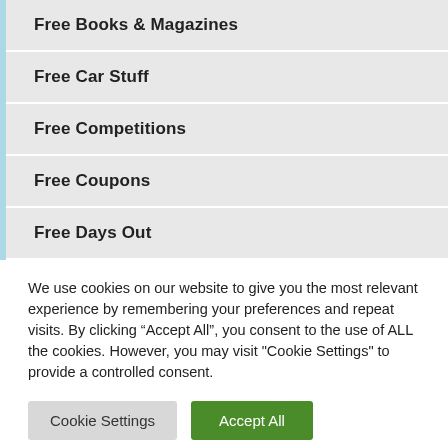Free Books & Magazines
Free Car Stuff
Free Competitions
Free Coupons
Free Days Out
We use cookies on our website to give you the most relevant experience by remembering your preferences and repeat visits. By clicking “Accept All”, you consent to the use of ALL the cookies. However, you may visit "Cookie Settings" to provide a controlled consent.
Cookie Settings | Accept All